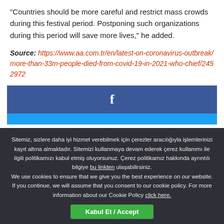“Countries should be more careful and restrict mass crowds during this festival period. Postponing such organizations during this period will save more lives,” he added.
Source: https://www.aa.com.tr/en/latest-on-coronavirus-outbreak/more-than-33m-people-died-from-covid-19-in-2021-who-chief/2452972
[Figure (other): Facebook share button (blue background with white 'f' icon)]
[Figure (other): Twitter share button bar (light blue)]
Sitemiz, sizlere daha iyi hizmet verebilmek için çerezler aracılığıyla işlemlerinizi kayıt altına almaktadır. Sitemizi kullanmaya devam ederek çerez kullanımı ile ilgili politikamızı kabul etmiş oluyorsunuz. Çerez politikamız hakkında ayrıntılı bilgiye bu linkten ulaşabilirsiniz. We use cookies to ensure that we give you the best experience on our website. If you continue, we will assume that you consent to our cookie policy. For more information about our Cookie Policy click here.
Kabul Et / Accept